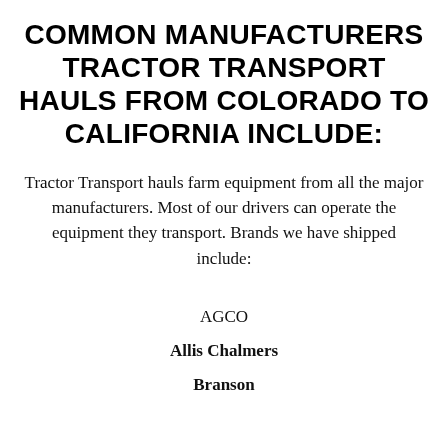COMMON MANUFACTURERS TRACTOR TRANSPORT HAULS FROM COLORADO TO CALIFORNIA INCLUDE:
Tractor Transport hauls farm equipment from all the major manufacturers. Most of our drivers can operate the equipment they transport. Brands we have shipped include:
AGCO
Allis Chalmers
Branson